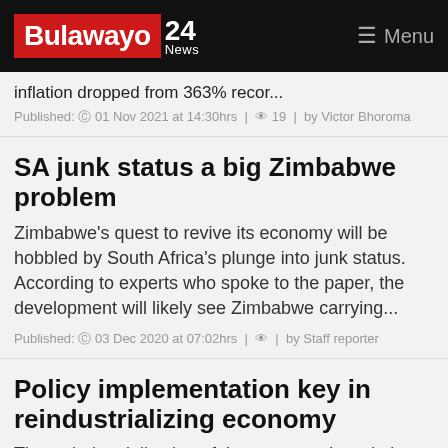Bulawayo 24 News | Menu
inflation dropped from 363% recor...
Published: © 01 Nov 2021 at 14:30hrs | 👁 19 | by Victor Bhoroma
SA junk status a big Zimbabwe problem
Zimbabwe's quest to revive its economy will be hobbled by South Africa's plunge into junk status. According to experts who spoke to the paper, the development will likely see Zimbabwe carrying...
Published: © 03 Dec 2020 at 07:02hrs | 👁 | by Staff reporter
Policy implementation key in reindustrializing economy
The re-industrialization of the economy is a vital piece in the achievement of Zimbabwe's sustainable economic development and effective participation in the Afri...